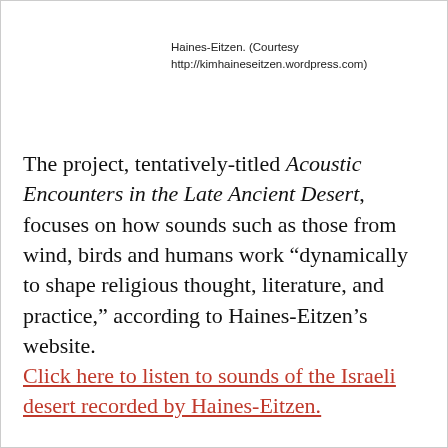Haines-Eitzen. (Courtesy
http://kimhaineseitzen.wordpress.com)
The project, tentatively-titled Acoustic Encounters in the Late Ancient Desert, focuses on how sounds such as those from wind, birds and humans work “dynamically to shape religious thought, literature, and practice,” according to Haines-Eitzen’s website.
Click here to listen to sounds of the Israeli desert recorded by Haines-Eitzen.